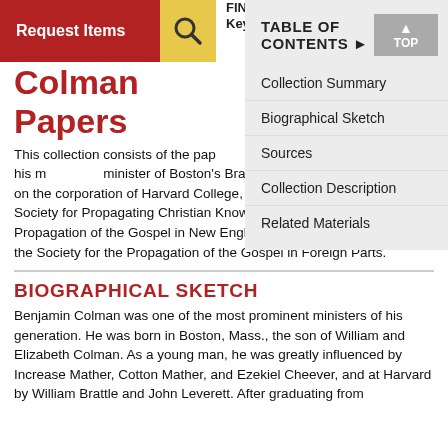Request Items | FIND Keywords | TABLE OF CONTENTS | Collection Summary | Biographical Sketch | Sources | Collection Description | Related Materials | TOP
Colman Papers
This collection consists of the papers of Benjamin Colman related to his ministry as minister of Boston's Brattle St. (Fo... church councils, on the corporation of Harvard College, and as a member of the Society for Propagating Christian Knowledge, the Society for the Propagation of the Gospel in New England and Parts Adjacent, and the Society for the Propagation of the Gospel in Foreign Parts.
BIOGRAPHICAL SKETCH
Benjamin Colman was one of the most prominent ministers of his generation. He was born in Boston, Mass., the son of William and Elizabeth Colman. As a young man, he was greatly influenced by Increase Mather, Cotton Mather, and Ezekiel Cheever, and at Harvard by William Brattle and John Leverett. After graduating from